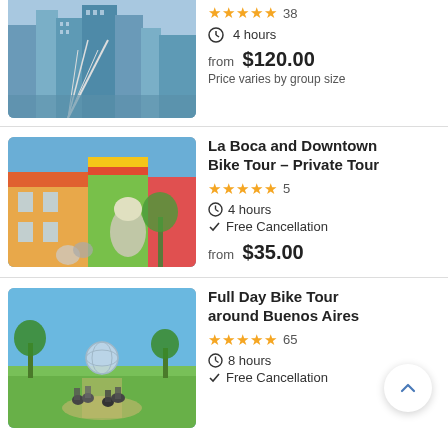[Figure (photo): Partial tour listing image showing a bridge and city skyline with skyscrapers]
4 hours
from $120.00
Price varies by group size
La Boca and Downtown Bike Tour - Private Tour
★★★★★ 5
4 hours
Free Cancellation
from $35.00
[Figure (photo): People on bikes wearing helmets near colorful La Boca buildings]
Full Day Bike Tour around Buenos Aires
★★★★★ 65
8 hours
Free Cancellation
[Figure (photo): Group of cyclists in a park in Buenos Aires with green grass and blue sky]